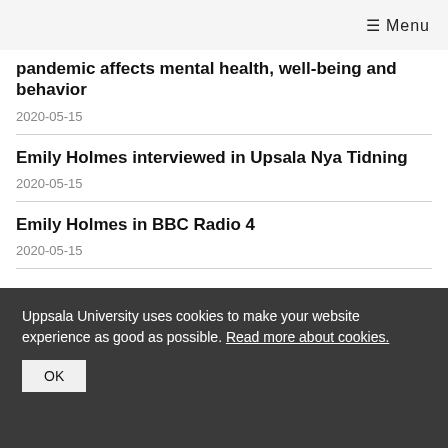≡ Menu
pandemic affects mental health, well-being and behavior
2020-05-15
Emily Holmes interviewed in Upsala Nya Tidning
2020-05-15
Emily Holmes in BBC Radio 4
2020-05-15
Uppsala University uses cookies to make your website experience as good as possible. Read more about cookies.
OK